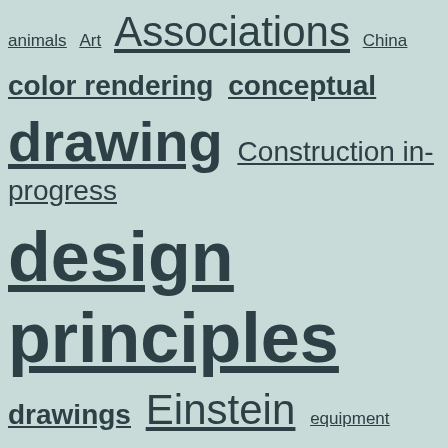animals Art Associations China
color rendering conceptual
drawing Construction in-progress
design principles
drawings Einstein equipment
gardendesign hardscape design
hardscapes landscape architecture
landscape design nature